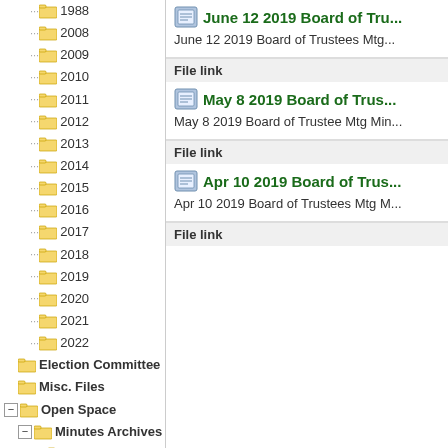1988
2008
2009
2010
2011
2012
2013
2014
2015
2016
2017
2018
2019
2020
2021
2022
Election Committee
Misc. Files
Open Space
Minutes Archives
2010
2011
2012
2013
2014
June 12 2019 Board of Tru...
June 12 2019 Board of Trustees Mtg...
File link
May 8 2019 Board of Trus...
May 8 2019 Board of Trustee Mtg Min...
File link
Apr 10 2019 Board of Trus...
Apr 10 2019 Board of Trustees Mtg M...
File link